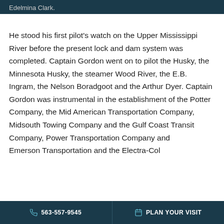Edelmina Clark.
He stood his first pilot's watch on the Upper Mississippi River before the present lock and dam system was completed. Captain Gordon went on to pilot the Husky, the Minnesota Husky, the steamer Wood River, the E.B. Ingram, the Nelson Boradgoot and the Arthur Dyer. Captain Gordon was instrumental in the establishment of the Potter Company, the Mid American Transportation Company, Midsouth Towing Company and the Gulf Coast Transit Company, Power Transportation Company and Emerson Transportation and the Electra-Col...
563-557-9545   PLAN YOUR VISIT